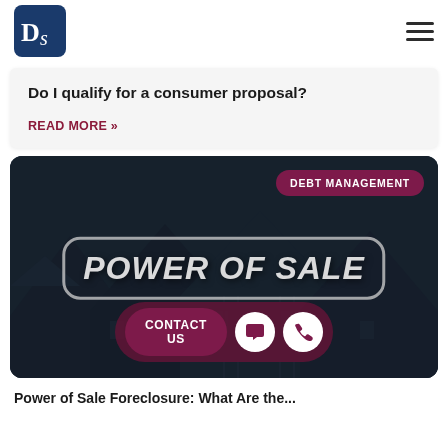[Figure (logo): DS logo — white letters D and S on dark blue rounded square background]
Do I qualify for a consumer proposal?
READ MORE »
[Figure (photo): Dark nighttime photo of suburban houses with 'POWER OF SALE' text overlay in a rounded rectangle border, 'DEBT MANAGEMENT' badge in top right, and contact buttons (CONTACT US, chat icon, phone icon) at the bottom]
Power of Sale Foreclosure: What Are the...